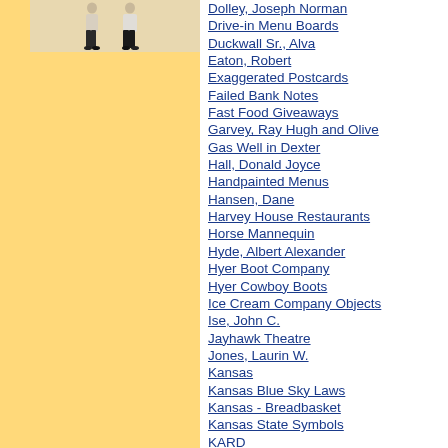[Figure (photo): Two figures/mannequins standing, appearing to wear casual clothes, against a light beige/tan background.]
Dolley, Joseph Norman
Drive-in Menu Boards
Duckwall Sr., Alva
Eaton, Robert
Exaggerated Postcards
Failed Bank Notes
Fast Food Giveaways
Garvey, Ray Hugh and Olive
Gas Well in Dexter
Hall, Donald Joyce
Handpainted Menus
Hansen, Dane
Harvey House Restaurants
Horse Mannequin
Hyde, Albert Alexander
Hyer Boot Company
Hyer Cowboy Boots
Ice Cream Company Objects
Ise, John C.
Jayhawk Theatre
Jones, Laurin W.
Kansas
Kansas Blue Sky Laws
Kansas - Breadbasket
Kansas State Symbols
KARD
KAYS Radio and TV
Knedlik, Omar
Kool...